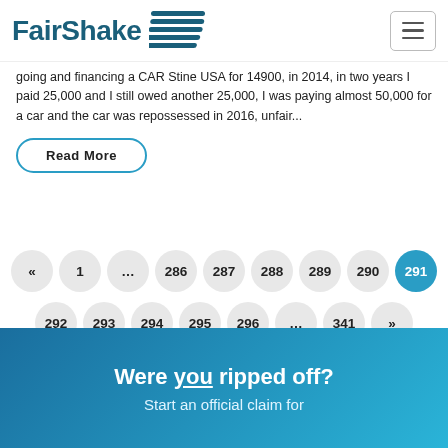FairShake [logo]
going and financing a CAR Stine USA for 14900, in 2014, in two years I paid 25,000 and I still owed another 25,000, I was paying almost 50,000 for a car and the car was repossessed in 2016, unfair...
Read More
Pagination: « 1 ... 286 287 288 289 290 291 292 293 294 295 296 ... 341 »
Were you ripped off?
Start an official claim for